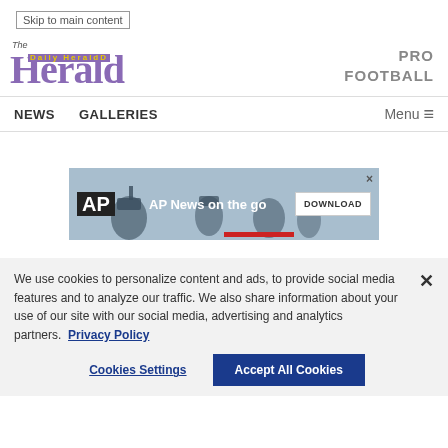Skip to main content
[Figure (logo): The Daily Herald newspaper logo with purple text and yellow subtitle]
PRO FOOTBALL
NEWS   GALLERIES   Menu ☰
[Figure (screenshot): AP News on the go advertisement banner with DOWNLOAD button]
We use cookies to personalize content and ads, to provide social media features and to analyze our traffic. We also share information about your use of our site with our social media, advertising and analytics partners. Privacy Policy
Cookies Settings   Accept All Cookies